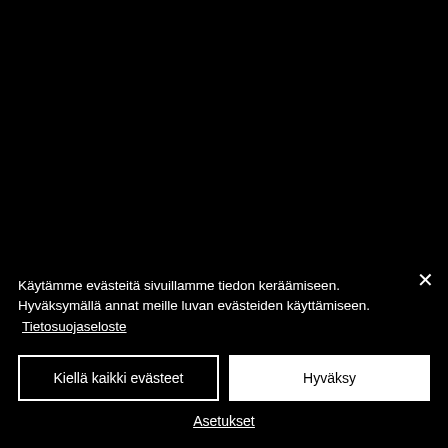Käytämme evästeitä sivuillamme tiedon keräämiseen. Hyväksymällä annat meille luvan evästeiden käyttämiseen. Tietosuojaseloste
Kiellä kaikki evästeet
Hyväksy
Asetukset